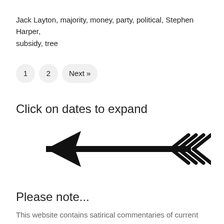Jack Layton, majority, money, party, political, Stephen Harper, subsidy, tree
1  2  Next »
Click on dates to expand
[Figure (illustration): A decorative arrow pointing left with feather/barb details on the right side, drawn in black.]
Please note...
This website contains satirical commentaries of current events going back several decades. Some readers may not